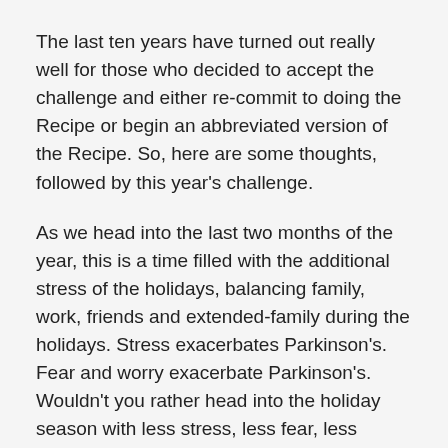The last ten years have turned out really well for those who decided to accept the challenge and either re-commit to doing the Recipe or begin an abbreviated version of the Recipe. So, here are some thoughts, followed by this year's challenge.
As we head into the last two months of the year, this is a time filled with the additional stress of the holidays, balancing family, work, friends and extended-family during the holidays. Stress exacerbates Parkinson's. Fear and worry exacerbate Parkinson's. Wouldn't you rather head into the holiday season with less stress, less fear, less worry, and physically feeling a little better? Wouldn't that make you and your family and friends actually see that you are on your path to recovery?
Okay, then…let's do this!!! You are three days away! Here we come November 1st!